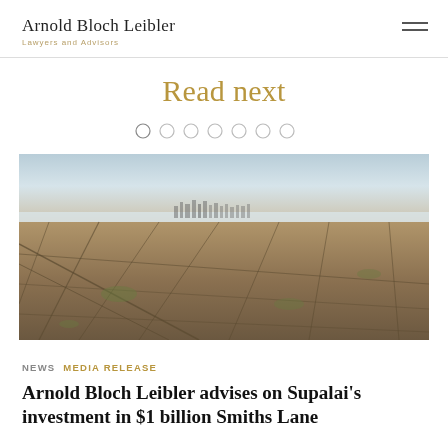Arnold Bloch Leibler — Lawyers and Advisors
Read next
[Figure (illustration): Navigation dots / carousel indicator with 7 circles, first one outlined/active]
[Figure (photo): Aerial photograph of a sprawling suburban cityscape with city skyline visible in the distance under a hazy sky]
NEWS  MEDIA RELEASE
Arnold Bloch Leibler advises on Supalai's investment in $1 billion Smiths Lane